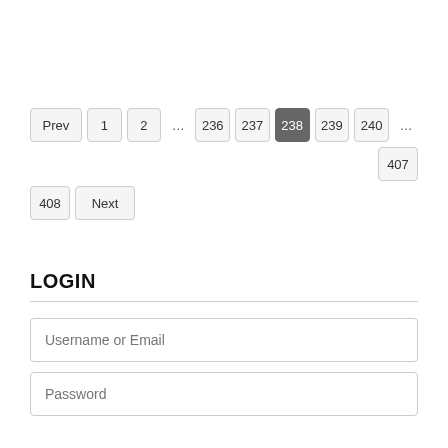[Figure (infographic): Pagination control showing: Prev, 1, 2, ..., 236, 237, 238 (active/highlighted), 239, 240, ..., 407, 408, Next]
LOGIN
Username or Email
Password